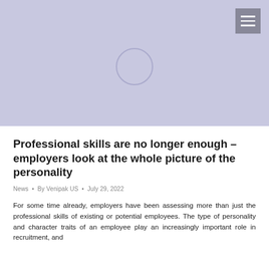[Figure (other): Light purple/lavender header image area with a loading spinner circle in the center and a hamburger menu button in the top right corner]
Professional skills are no longer enough – employers look at the whole picture of the personality
News • By Venipak US • July 29, 2022
For some time already, employers have been assessing more than just the professional skills of existing or potential employees. The type of personality and character traits of an employee play an increasingly important role in recruitment, and